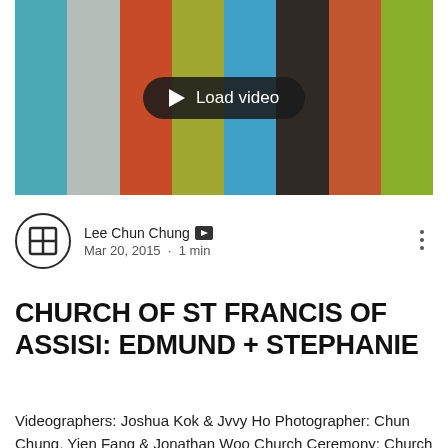[Figure (screenshot): Video thumbnail with colorful vertical bars (teal, light gray, orange-red, olive-green, sky blue, dark brown/charcoal, burnt orange, olive-green) and a dark rounded 'Load video' button with play triangle in the center.]
Lee Chun Chung [admin icon]
Mar 20, 2015  ·  1 min
CHURCH OF ST FRANCIS OF ASSISI: EDMUND + STEPHANIE
Videographers: Joshua Kok & Jvvy Ho Photographer: Chun Chung, Yien Fang & Jonathan Woo Church Ceremony: Church of St Francis of Assisi We were pleasantly